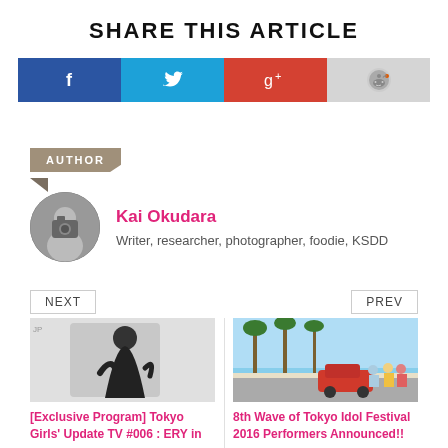SHARE THIS ARTICLE
[Figure (infographic): Social share buttons: Facebook (blue), Twitter (light blue), Google+ (red/orange), Reddit (gray)]
AUTHOR
[Figure (photo): Black and white circular avatar photo of author holding a camera]
Kai Okudara
Writer, researcher, photographer, foodie, KSDD
NEXT
PREV
[Figure (photo): Photo of a woman in a black outfit with a bow hat against a white background]
[Exclusive Program] Tokyo Girls' Update TV #006 : ERY in
[Figure (photo): Photo of a group of young people in colorful outfits on a sunny boulevard with palm trees and a red car]
8th Wave of Tokyo Idol Festival 2016 Performers Announced!!